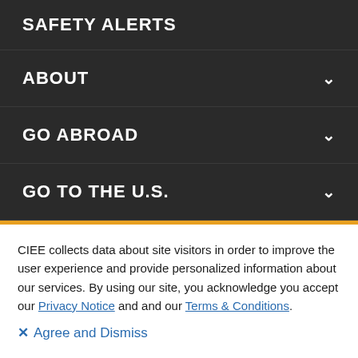SAFETY ALERTS
ABOUT
GO ABROAD
GO TO THE U.S.
CIEE collects data about site visitors in order to improve the user experience and provide personalized information about our services. By using our site, you acknowledge you accept our Privacy Notice and and our Terms & Conditions.
✕ Agree and Dismiss